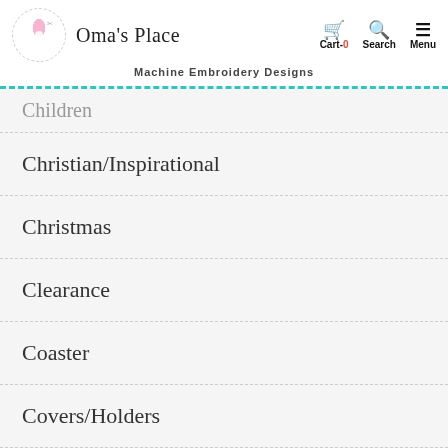Oma's Place — Machine Embroidery Designs — Cart-0 Search Menu
Children
Christian/Inspirational
Christmas
Clearance
Coaster
Covers/Holders
Designs for Men
Designs using vinyl